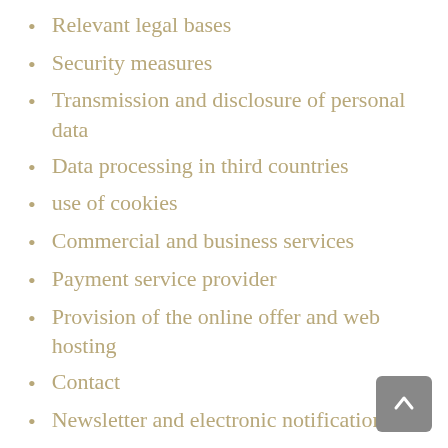Relevant legal bases
Security measures
Transmission and disclosure of personal data
Data processing in third countries
use of cookies
Commercial and business services
Payment service provider
Provision of the online offer and web hosting
Contact
Newsletter and electronic notifications
Presence in social networks (social media)